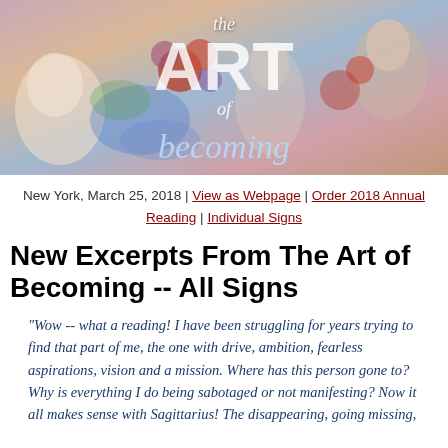[Figure (illustration): Decorative banner image for 'The Art of Becoming' with artistic mixed-media collage of figures and flowers in watercolor style. Text overlaid reads 'the ART of becoming'.]
New York, March 25, 2018 | View as Webpage | Order 2018 Annual Reading | Individual Signs
New Excerpts From The Art of Becoming -- All Signs
"Wow -- what a reading! I have been struggling for years trying to find that part of me, the one with drive, ambition, fearless aspirations, vision and a mission. Where has this person gone to? Why is everything I do being sabotaged or not manifesting? Now it all makes sense with Sagittarius! The disappearing, going missing,